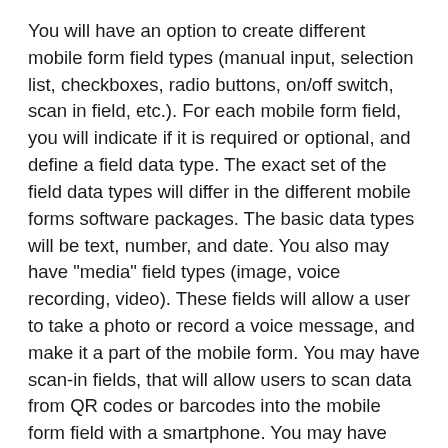You will have an option to create different mobile form field types (manual input, selection list, checkboxes, radio buttons, on/off switch, scan in field, etc.). For each mobile form field, you will indicate if it is required or optional, and define a field data type. The exact set of the field data types will differ in the different mobile forms software packages. The basic data types will be text, number, and date. You also may have "media" field types (image, voice recording, video). These fields will allow a user to take a photo or record a voice message, and make it a part of the mobile form. You may have scan-in fields, that will allow users to scan data from QR codes or barcodes into the mobile form field with a smartphone. You may have GPS field, that will allow a user to capture a GPS location.
In some instances, you will be able to add a skip logic to the mobile form (e.g. if field A is selected show section A, otherwise hide it), and add calculations.
You may use the software if/or you may add...